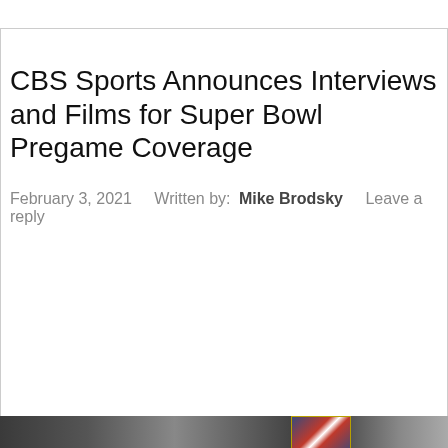CBS Sports Announces Interviews and Films for Super Bowl Pregame Coverage
February 3, 2021    Written by: Mike Brodsky    Leave a reply
[Figure (photo): A horizontal image strip showing what appears to be people in an indoor setting, with an American flag visible in a framed or highlighted section on the right portion of the strip.]